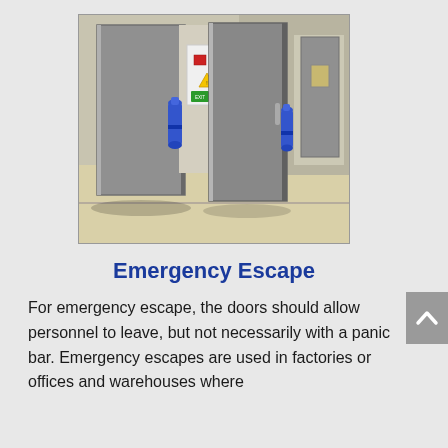[Figure (photo): Industrial emergency escape doors — two large grey metal doors open, revealing equipment including blue gas cylinders and warning signs mounted inside; corridor with beige floor visible to the right.]
Emergency Escape
For emergency escape, the doors should allow personnel to leave, but not necessarily with a panic bar. Emergency escapes are used in factories or offices and warehouses where